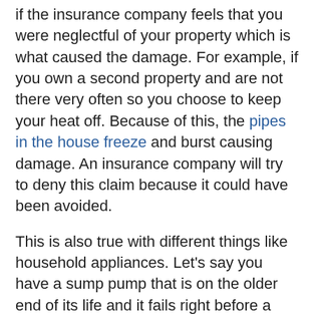if the insurance company feels that you were neglectful of your property which is what caused the damage. For example, if you own a second property and are not there very often so you choose to keep your heat off. Because of this, the pipes in the house freeze and burst causing damage. An insurance company will try to deny this claim because it could have been avoided.
This is also true with different things like household appliances. Let's say you have a sump pump that is on the older end of its life and it fails right before a rainstorm causing your basement to flood. An Insurance company may try to say that you were neglectful in replacing